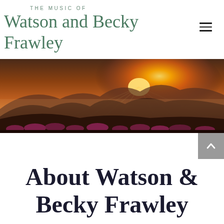THE MUSIC OF Watson and Becky Frawley
[Figure (photo): Panoramic landscape photo of mountain sunset with pink wildflowers in the foreground, golden sun rays bursting over misty mountain ridges, warm orange and purple tones.]
About Watson & Becky Frawley